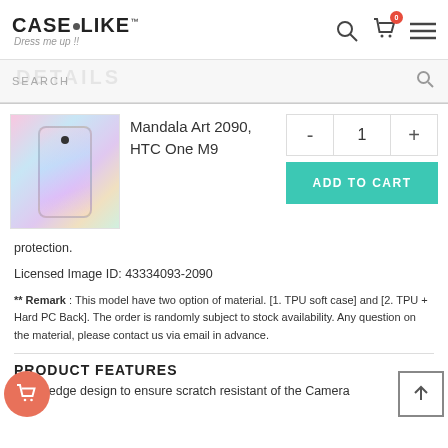CASELIKE Dress me up !!
[Figure (screenshot): Search bar with DETAILS watermark text and search icon]
[Figure (photo): HTC One M9 phone case with Mandala Art 2090 design, pink and blue colorful pattern]
Mandala Art 2090, HTC One M9
- 1 +
ADD TO CART
protection.
Licensed Image ID: 43334093-2090
** Remark : This model have two option of material. [1. TPU soft case] and [2. TPU + Hard PC Back]. The order is randomly subject to stock availability. Any question on the material, please contact us via email in advance.
PRODUCT FEATURES
Bevel edge design to ensure scratch resistant of the Camera